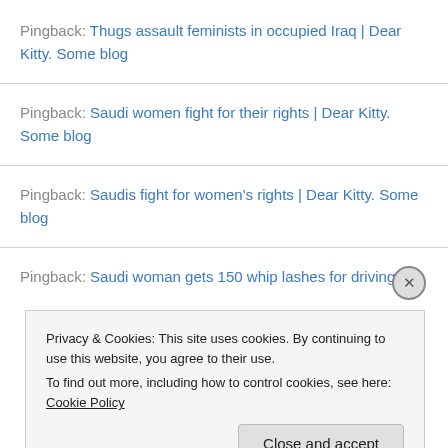Pingback: Thugs assault feminists in occupied Iraq | Dear Kitty. Some blog
Pingback: Saudi women fight for their rights | Dear Kitty. Some blog
Pingback: Saudis fight for women's rights | Dear Kitty. Some blog
Pingback: Saudi woman gets 150 whip lashes for driving |
Privacy & Cookies: This site uses cookies. By continuing to use this website, you agree to their use. To find out more, including how to control cookies, see here: Cookie Policy
Close and accept